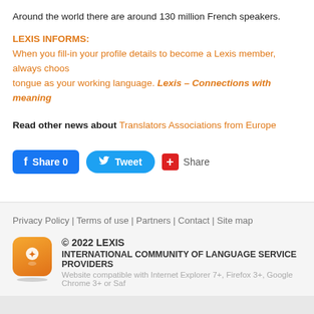Around the world there are around 130 million French speakers.
LEXIS INFORMS:
When you fill-in your profile details to become a Lexis member, always choose your mother tongue as your working language. Lexis – Connections with meaning
Read other news about Translators Associations from Europe
[Figure (screenshot): Social share buttons: Facebook Share 0, Twitter Tweet, Google+ Share]
Privacy Policy | Terms of use | Partners | Contact | Site map
© 2022 LEXIS
INTERNATIONAL COMMUNITY OF LANGUAGE SERVICE PROVIDERS
Website compatible with Internet Explorer 7+, Firefox 3+, Google Chrome 3+ or Safari